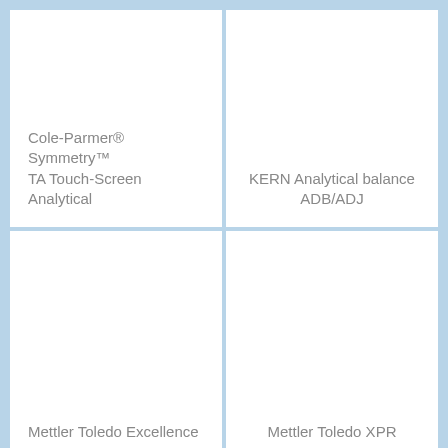[Figure (photo): Product image area for Cole-Parmer Symmetry TA Touch-Screen Analytical balance (image not visible)]
Cole-Parmer® Symmetry™ TA Touch-Screen Analytical
[Figure (photo): Product image area for KERN Analytical balance ADB/ADJ (image not visible)]
KERN Analytical balance ADB/ADJ
[Figure (photo): Product image area for Mettler Toledo Excellence balance (image not visible)]
Mettler Toledo Excellence
[Figure (photo): Product image area for Mettler Toledo XPR balance (image not visible)]
Mettler Toledo XPR